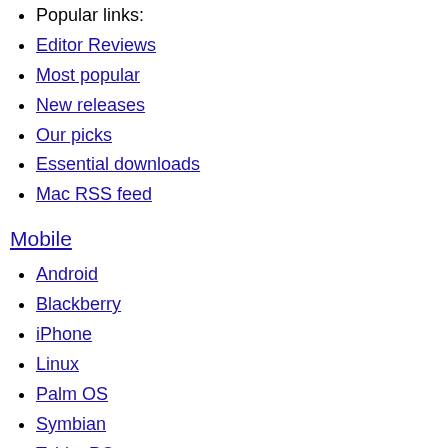Popular links:
Editor Reviews
Most popular
New releases
Our picks
Essential downloads
Mac RSS feed
Mobile
Android
Blackberry
iPhone
Linux
Palm OS
Symbian
Tablet PC
Windows Mobile
Popular links:
Editor Reviews
Most popular
New releases
Our picks
Essential downloads
Mobile RSS feed